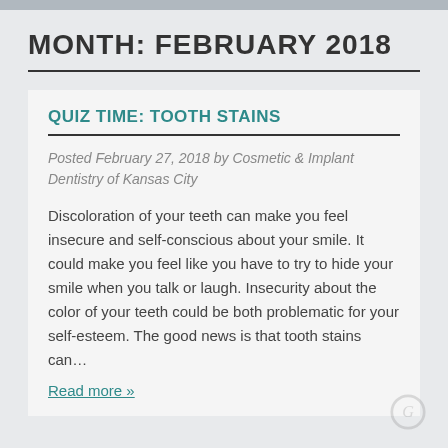MONTH: FEBRUARY 2018
QUIZ TIME: TOOTH STAINS
Posted February 27, 2018 by Cosmetic & Implant Dentistry of Kansas City
Discoloration of your teeth can make you feel insecure and self-conscious about your smile. It could make you feel like you have to try to hide your smile when you talk or laugh. Insecurity about the color of your teeth could be both problematic for your self-esteem. The good news is that tooth stains can…
Read more »